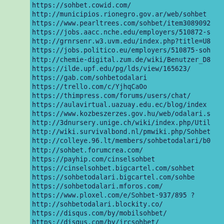https://sohbet.cowid.com/
http://municipios.rionegro.gov.ar/web/sohbet
https://www.pearltrees.com/sohbet/item3089092
https://jobs.aacc.nche.edu/employers/510872-s
http://grnrsenr.w3.uvm.edu/index.php?title=U8
https://jobs.politico.eu/employers/510875-soh
http://chemie-digital.zum.de/wiki/Benutzer_D8
https://ilde.upf.edu/pg/lds/view/165623/
https://gab.com/sohbetodalari
https://trello.com/c/YjhqCaOo
https://thimpress.com/forums/users/chat/
https://aulavirtual.uazuay.edu.ec/blog/index
https://www.kozbeszerzes.gov.hu/web/odalari.s
http://3dnursery.unige.ch/wiki/index.php/Util
http://wiki.survivalbond.nl/pmwiki.php/Sohbet
http://colleye.96.lt/members/sohbetodalari/b0
http://sohbet.forumcrea.com/
https://payhip.com/cinselsohbet
https://cinselsohbet.bigcartel.com/sohbet
https://sohbetodalari.bigcartel.com/sohbe
https://sohbetodalari.mforos.com/
https://www.ploxel.com/e/Sohbet-937/895 ?
http://sohbetodalari.blockity.co/
https://disqus.com/by/mobilsohbet/
https://disqus.com/by/ircsohbet/
https://poptype.co/sohbetodalari/sohbet
http://sohbet.builder.hemsida24.se/blog/sohbe